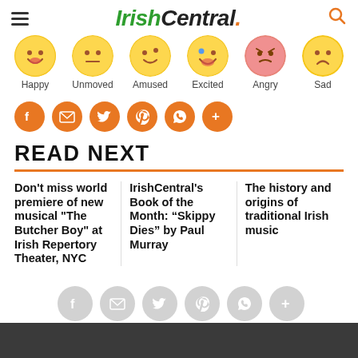IrishCentral.
[Figure (illustration): Six emoji faces in a row: Happy, Unmoved, Amused, Excited, Angry, Sad]
Happy   Unmoved   Amused   Excited   Angry   Sad
[Figure (infographic): Row of orange circular social share buttons: Facebook, Email, Twitter, Pinterest, WhatsApp, More (+)]
READ NEXT
Don't miss world premiere of new musical "The Butcher Boy" at Irish Repertory Theater, NYC
IrishCentral's Book of the Month: “Skippy Dies” by Paul Murray
The history and origins of traditional Irish music
[Figure (infographic): Row of gray circular social share buttons at bottom: Facebook, Email, Twitter, Pinterest, WhatsApp, More (+)]